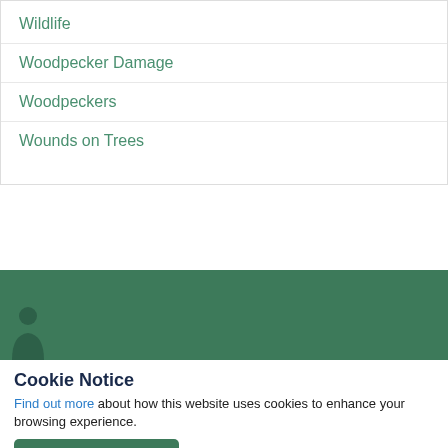Wildlife
Woodpecker Damage
Woodpeckers
Wounds on Trees
[Figure (illustration): Dark green banner with a silhouette of a person/figure icon on the left side]
Cookie Notice
Find out more about how this website uses cookies to enhance your browsing experience.
ACCEPT COOKIES